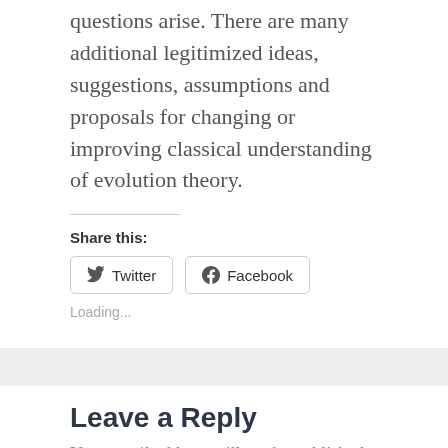questions arise. There are many additional legitimized ideas, suggestions, assumptions and proposals for changing or improving classical understanding of evolution theory.
Share this:
[Figure (other): Twitter and Facebook share buttons]
Loading...
Leave a Reply
Your email address will not be published.